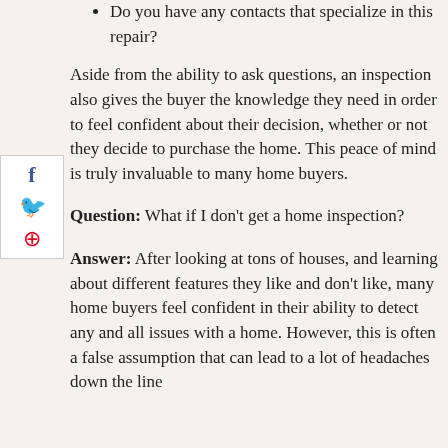Do you have any contacts that specialize in this repair?
Aside from the ability to ask questions, an inspection also gives the buyer the knowledge they need in order to feel confident about their decision, whether or not they decide to purchase the home. This peace of mind is truly invaluable to many home buyers.
Question: What if I don't get a home inspection?
Answer: After looking at tons of houses, and learning about different features they like and don't like, many home buyers feel confident in their ability to detect any and all issues with a home. However, this is often a false assumption that can lead to a lot of headaches down the line